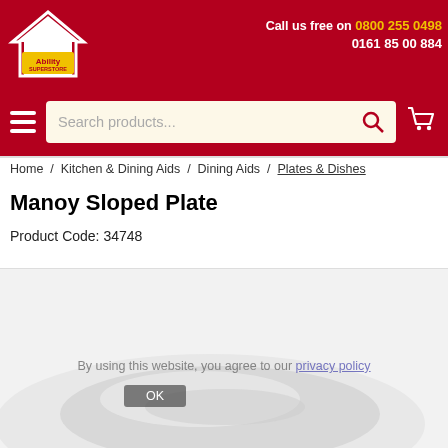[Figure (logo): Ability Superstore logo — house icon with yellow text on red background]
Call us free on 0800 255 0498
0161 85 00 884
[Figure (screenshot): Navigation bar with hamburger menu, search box reading 'Search products...', and shopping cart icon]
Home / Kitchen & Dining Aids / Dining Aids / Plates & Dishes
Manoy Sloped Plate
Product Code: 34748
[Figure (photo): White sloped plate product photo on light grey background]
By using this website, you agree to our privacy policy
OK